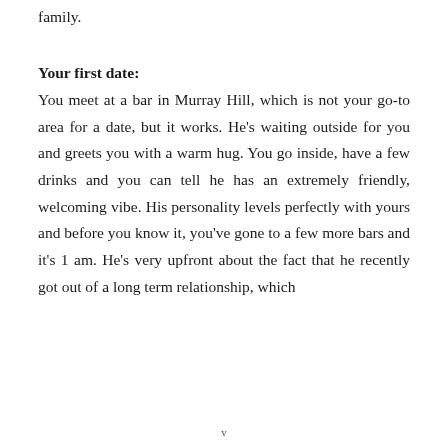family.
Your first date:
You meet at a bar in Murray Hill, which is not your go-to area for a date, but it works. He’s waiting outside for you and greets you with a warm hug. You go inside, have a few drinks and you can tell he has an extremely friendly, welcoming vibe. His personality levels perfectly with yours and before you know it, you’ve gone to a few more bars and it’s 1 am. He’s very upfront about the fact that he recently got out of a long term relationship, which
v